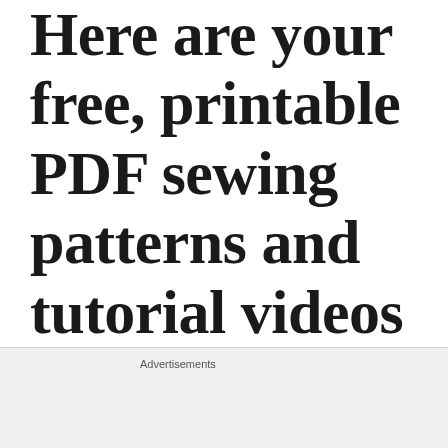Here are your free, printable PDF sewing patterns and tutorial videos for making the
Advertisements